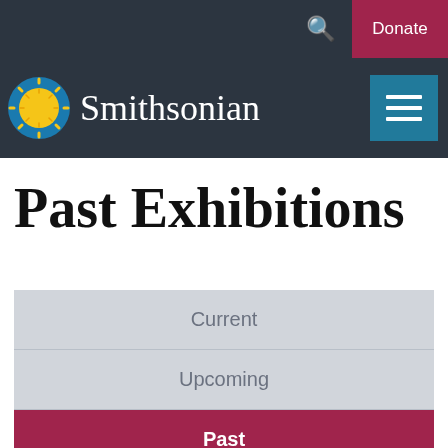Smithsonian — Search | Donate
Past Exhibitions
Current
Upcoming
Past